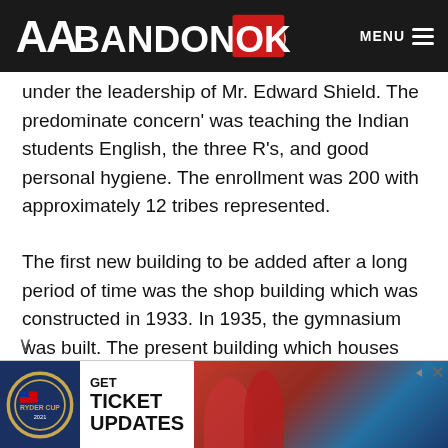ABANDONED OK — MENU
under the leadership of Mr. Edward Shield. The predominate concern' was teaching the Indian students English, the three R's, and good personal hygiene. The enrollment was 200 with approximately 12 tribes represented.
The first new building to be added after a long period of time was the shop building which was constructed in 1933. In 1935, the gymnasium was built. The present building which houses the academic classrooms was built in 1933. the first senior class
[Figure (screenshot): Advertisement banner for Ryder Cup ticket updates, showing Ryder Cup logo on dark blue background, bold text GET TICKET UPDATES, and a photo of golfers in red shirts]